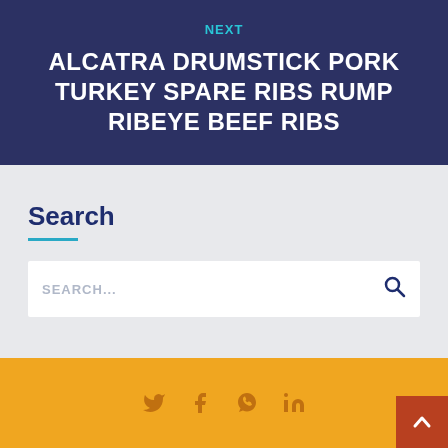NEXT
ALCATRA DRUMSTICK PORK TURKEY SPARE RIBS RUMP RIBEYE BEEF RIBS
Search
SEARCH...